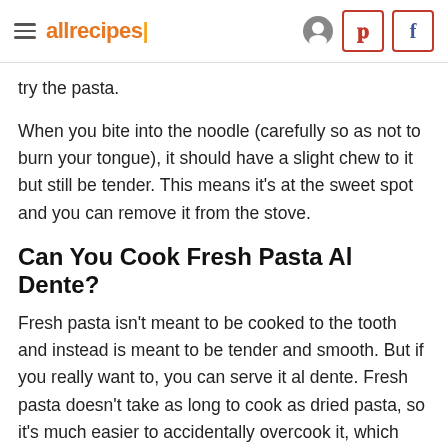allrecipes
try the pasta.
When you bite into the noodle (carefully so as not to burn your tongue), it should have a slight chew to it but still be tender. This means it's at the sweet spot and you can remove it from the stove.
Can You Cook Fresh Pasta Al Dente?
Fresh pasta isn't meant to be cooked to the tooth and instead is meant to be tender and smooth. But if you really want to, you can serve it al dente. Fresh pasta doesn't take as long to cook as dried pasta, so it's much easier to accidentally overcook it, which means